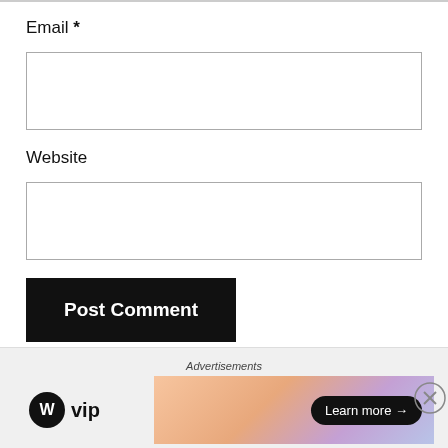Email *
Website
Post Comment
Notify me of new comments via email.
Notify me of new posts via email.
Advertisements
[Figure (logo): WordPress VIP logo with WP circle icon and 'vip' text]
[Figure (infographic): Orange/pink gradient advertisement banner with 'Learn more →' button]